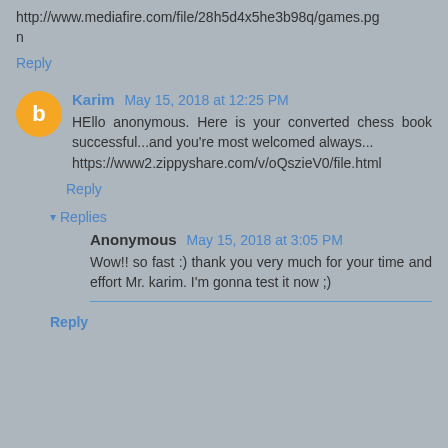http://www.mediafire.com/file/28h5d4x5he3b98q/games.pgn
Reply
Karim May 15, 2018 at 12:25 PM
HEllo anonymous. Here is your converted chess book successful...and you're most welcomed always... https://www2.zippyshare.com/v/oQszieV0/file.html
Reply
▾ Replies
Anonymous May 15, 2018 at 3:05 PM
Wow!! so fast :) thank you very much for your time and effort Mr. karim. I'm gonna test it now ;)
Reply